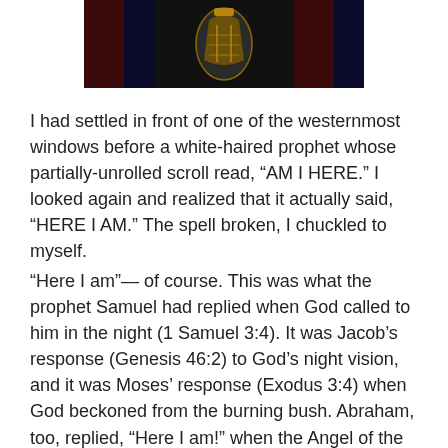[Figure (photo): A dark photograph showing what appears to be a decorative or religious artifact with gold ornamental design, set against a dark background with vertical dark red and blue elements.]
I had settled in front of one of the westernmost windows before a white-haired prophet whose partially-unrolled scroll read, “AM I HERE.” I looked again and realized that it actually said, “HERE I AM.” The spell broken, I chuckled to myself.
“Here I am”— of course. This was what the prophet Samuel had replied when God called to him in the night (1 Samuel 3:4). It was Jacob’s response (Genesis 46:2) to God’s night vision, and it was Moses’ response (Exodus 3:4) when God beckoned from the burning bush. Abraham, too, replied, “Here I am!” when the Angel of the Lord called to him from heaven (Genesis 22:11). Twice, Christ Himself announced, “Here I am”— first, in obedience